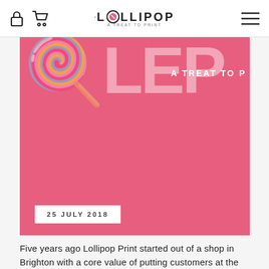🔒 🛒  LOLLIPOP A TREAT TO PRINT  ≡
[Figure (photo): Pink/coral branded Lollipop Print banner image with large white semi-transparent letters and tagline 'A TREAT TO P' visible. Date badge '25 JULY 2018' overlaid at bottom left.]
25 JULY 2018
Five years ago Lollipop Print started out of a shop in Brighton with a core value of putting customers at the centre of everything we do. It was humble beginnings, but we had huge aspirations to provide the best print